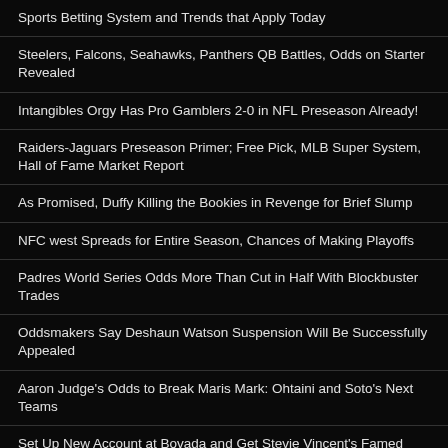Sports Betting System and Trends that Apply Today
Steelers, Falcons, Seahawks, Panthers QB Battles, Odds on Starter Revealed
Intangibles Orgy Has Pro Gamblers 2-0 in NFL Preseason Already!
Raiders-Jaguars Preseason Primer; Free Pick, MLB Super System, Hall of Fame Market Report
As Promised, Duffy Killing the Bookies in Revenge for Brief Slump
NFC west Spreads for Entire Season, Chances of Making Playoffs
Padres World Series Odds More Than Cut in Half With Blockbuster Trades
Oddsmakers Say Deshaun Watson Suspension Will Be Successfully Appealed
Aaron Judge's Odds to Break Maris Mark: Ohtaini and Soto's Next Teams
Set Up New Account at Bovada and Get Stevie Vincent's Famed Premium Picks for FREE